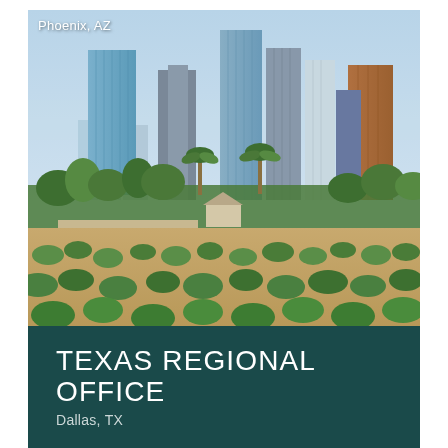[Figure (photo): Aerial/ground-level photograph of Phoenix, AZ skyline with tall glass and concrete skyscrapers in the background, desert trees and scrubland in the foreground, and a label reading 'Phoenix, AZ' in white text in the upper-left corner of the image.]
TEXAS REGIONAL OFFICE
Dallas, TX